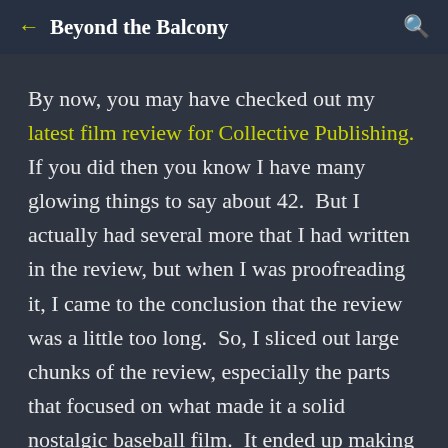Beyond the Balcony
By now, you may have checked out my latest film review for Collective Publishing.  If you did then you know I have many glowing things to say about 42.  But I actually had several more that I had written in the review, but when I was proofreading it, I came to the conclusion that the review was a little too long.  So, I sliced out large chunks of the review, especially the parts that focused on what made it a solid nostalgic baseball film.  It ended up making my review sound like I felt the film's main value was a look at the